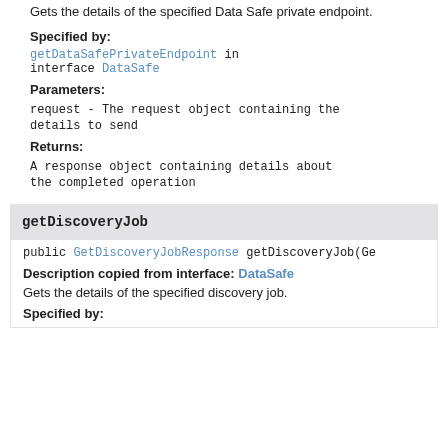Gets the details of the specified Data Safe private endpoint.
Specified by:
getDataSafePrivateEndpoint in interface DataSafe
Parameters:
request - The request object containing the details to send
Returns:
A response object containing details about the completed operation
getDiscoveryJob
public GetDiscoveryJobResponse getDiscoveryJob(Ge
Description copied from interface: DataSafe
Gets the details of the specified discovery job.
Specified by: